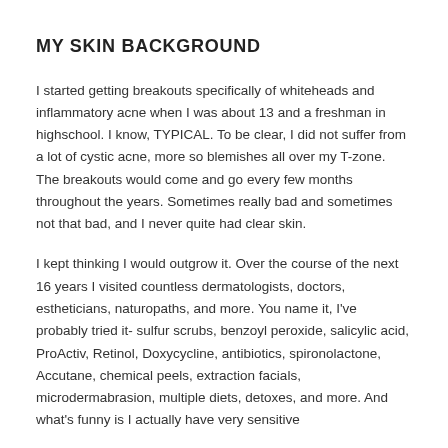MY SKIN BACKGROUND
I started getting breakouts specifically of whiteheads and inflammatory acne when I was about 13 and a freshman in highschool. I know, TYPICAL. To be clear, I did not suffer from a lot of cystic acne, more so blemishes all over my T-zone. The breakouts would come and go every few months throughout the years. Sometimes really bad and sometimes not that bad, and I never quite had clear skin.
I kept thinking I would outgrow it. Over the course of the next 16 years I visited countless dermatologists, doctors, estheticians, naturopaths, and more. You name it, I've probably tried it- sulfur scrubs, benzoyl peroxide, salicylic acid, ProActiv, Retinol, Doxycycline, antibiotics, spironolactone, Accutane, chemical peels, extraction facials, microdermabrasion, multiple diets, detoxes, and more. And what's funny is I actually have very sensitive